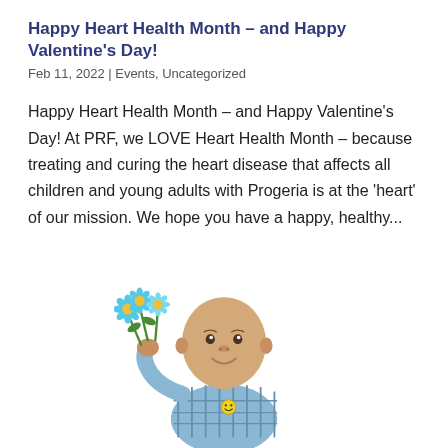Happy Heart Health Month – and Happy Valentine's Day!
Feb 11, 2022 | Events, Uncategorized
Happy Heart Health Month – and Happy Valentine's Day! At PRF, we LOVE Heart Health Month – because treating and curing the heart disease that affects all children and young adults with Progeria is at the 'heart' of our mission. We hope you have a happy, healthy...
[Figure (photo): A smiling child with Progeria holding blue daisy flowers, wearing a plaid shirt, photographed against a white background.]